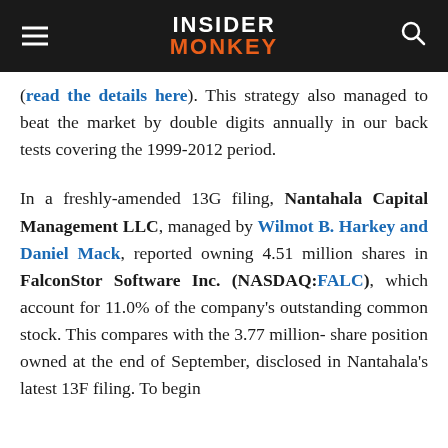INSIDER MONKEY
(read the details here). This strategy also managed to beat the market by double digits annually in our back tests covering the 1999-2012 period.
In a freshly-amended 13G filing, Nantahala Capital Management LLC, managed by Wilmot B. Harkey and Daniel Mack, reported owning 4.51 million shares in FalconStor Software Inc. (NASDAQ:FALC), which account for 11.0% of the company's outstanding common stock. This compares with the 3.77 million-share position owned at the end of September, disclosed in Nantahala's latest 13F filing. To begin